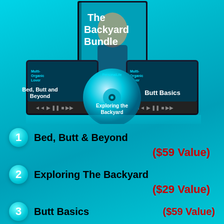[Figure (illustration): Product bundle mockup showing 'The Backyard Bundle' with a DVD/CD disc labeled 'Exploring the Backyard' and two video player boxes labeled 'Bed, Butt and Beyond' and 'Butt Basics' on a teal background]
1 Bed, Butt & Beyond ($59 Value)
2 Exploring The Backyard ($29 Value)
3 Butt Basics ($59 Value)